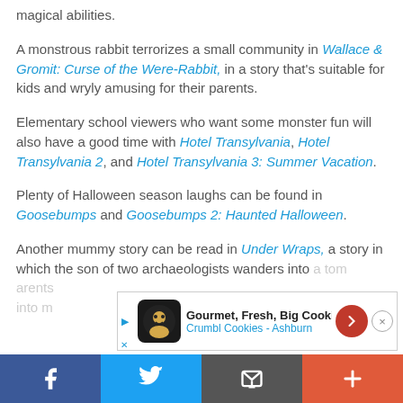magical abilities.
A monstrous rabbit terrorizes a small community in Wallace & Gromit: Curse of the Were-Rabbit, in a story that's suitable for kids and wryly amusing for their parents.
Elementary school viewers who want some monster fun will also have a good time with Hotel Transylvania, Hotel Transylvania 2, and Hotel Transylvania 3: Summer Vacation.
Plenty of Halloween season laughs can be found in Goosebumps and Goosebumps 2: Haunted Halloween.
Another mummy story can be read in Under Wraps, a story in which the son of two archaeologists wanders into a tomb ... parents ... into m...
[Figure (screenshot): Advertisement banner for Crumbl Cookies - Ashburn: Gourmet, Fresh, Big Cookies with cookie mascot logo and navigation arrow icon]
[Figure (screenshot): Bottom navigation bar with Facebook, Twitter, email/bookmark, and plus buttons]